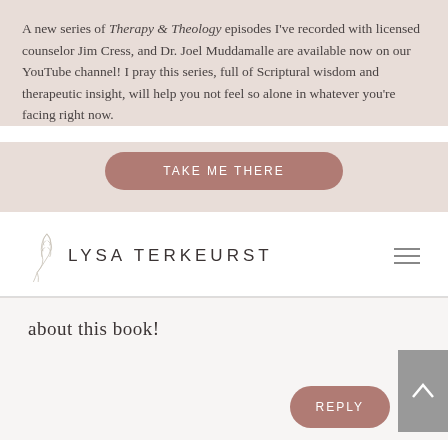A new series of Therapy & Theology episodes I've recorded with licensed counselor Jim Cress, and Dr. Joel Muddamalle are available now on our YouTube channel! I pray this series, full of Scriptural wisdom and therapeutic insight, will help you not feel so alone in whatever you're facing right now.
[Figure (other): Button labeled TAKE ME THERE with rounded corners, mauve/rose color]
[Figure (logo): Lysa TerKeurst logo with botanical leaf illustration and text LYSA TERKEURST in spaced capitals]
about this book!
[Figure (other): REPLY button, rounded, mauve color; scroll-to-top arrow button in gray]
Traci on September 2, 2014 at 9:02 pm